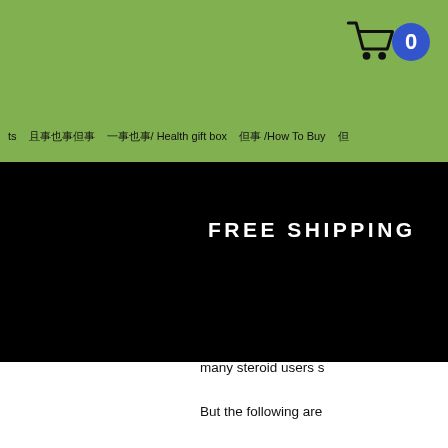Navigation bar with cart icon (0), menu items including Health gift box and How To Buy
FREE SHIPPING
many steroid users s
But the following are
Abdominal Pain
Increased appetite
Muscle stiffness or s
Protein (protein shak